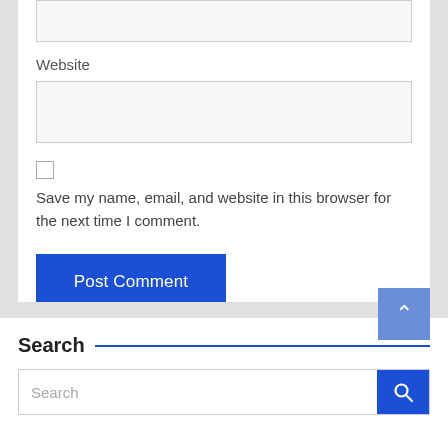[Figure (screenshot): Top partial input box (text area, partially visible at top of card)]
Website
[Figure (screenshot): Website input text field (empty, light gray background)]
[Figure (screenshot): Checkbox (unchecked)]
Save my name, email, and website in this browser for the next time I comment.
[Figure (screenshot): Post Comment button (blue)]
Search
[Figure (screenshot): Search input field with search icon button]